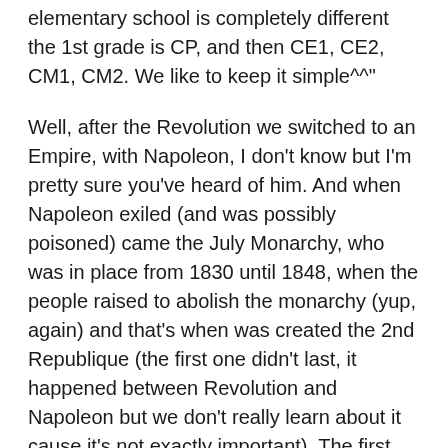elementary school is completely different the 1st grade is CP, and then CE1, CE2, CM1, CM2. We like to keep it simple^^"
Well, after the Revolution we switched to an Empire, with Napoleon, I don't know but I'm pretty sure you've heard of him. And when Napoleon exiled (and was possibly poisoned) came the July Monarchy, who was in place from 1830 until 1848, when the people raised to abolish the monarchy (yup, again) and that's when was created the 2nd Republique (the first one didn't last, it happened between Revolution and Napoleon but we don't really learn about it cause it's not exactly important). The first President of France ever was actually Louis-